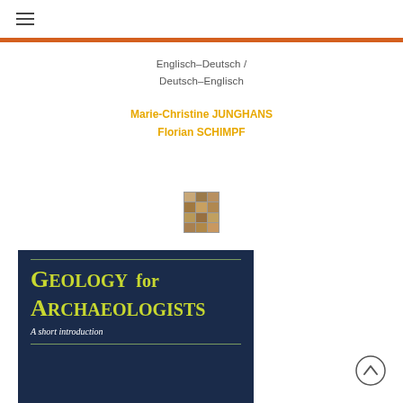≡ (navigation menu icon)
Englisch–Deutsch / Deutsch–Englisch
Marie-Christine JUNGHANS
Florian SCHIMPF
[Figure (logo): Publisher logo: grid of colored squares]
[Figure (illustration): Book cover: dark navy background with yellow-green title 'Geology for Archaeologists – A short introduction']